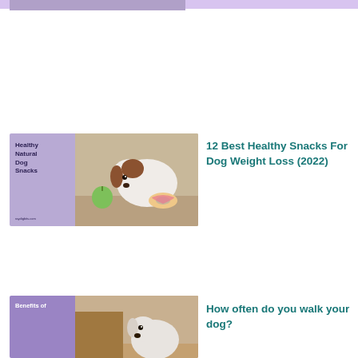[Figure (photo): Partial thumbnail at top of page, cropped image of dog article]
[Figure (photo): Thumbnail image showing a Jack Russell Terrier dog looking at a green apple and pink donut. Left side has purple background with text 'Healthy Natural Dog Snacks' and website URL raydigbits.com]
12 Best Healthy Snacks For Dog Weight Loss (2022)
[Figure (photo): Partial thumbnail at bottom: purple left side with 'Benefits of' text, right side shows dog image]
How often do you walk your dog?